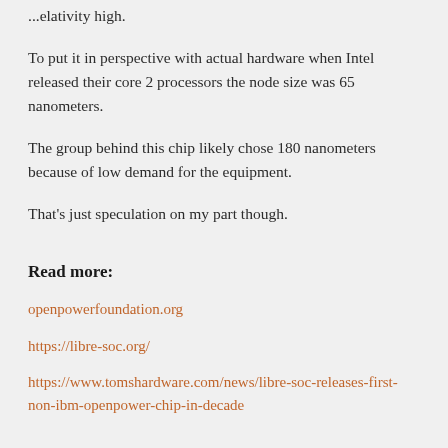...elativity high.
To put it in perspective with actual hardware when Intel released their core 2 processors the node size was 65 nanometers.
The group behind this chip likely chose 180 nanometers because of low demand for the equipment.
That's just speculation on my part though.
Read more:
openpowerfoundation.org
https://libre-soc.org/
https://www.tomshardware.com/news/libre-soc-releases-first-non-ibm-openpower-chip-in-decade